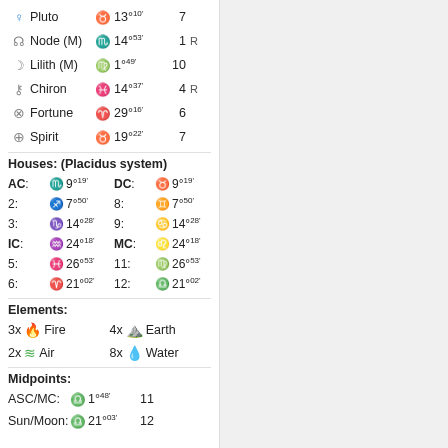Pluto  Taurus 13°10'  7
Node (M)  Scorpio 14°53'  1  R
Lilith (M)  Virgo 1°49'  10
Chiron  Pisces 14°37'  4  R
Fortune  Aries 29°16'  6
Spirit  Taurus 19°22'  7
Houses: (Placidus system)
| House | Sign | Degree | House | Sign | Degree |
| --- | --- | --- | --- | --- | --- |
| AC: | Scorpio | 9°19' | DC: | Taurus | 9°19' |
| 2: | Sagittarius | 7°50' | 8: | Gemini | 7°50' |
| 3: | Capricorn | 14°28' | 9: | Cancer | 14°28' |
| IC: | Aquarius | 24°18' | MC: | Leo | 24°18' |
| 5: | Pisces | 26°53' | 11: | Virgo | 26°53' |
| 6: | Aries | 21°02' | 12: | Libra | 21°02' |
Elements:
3x Fire    4x Earth
2x Air    8x Water
Midpoints:
ASC/MC:  Libra 1°48'  11
Sun/Moon:  Libra 21°03'  12